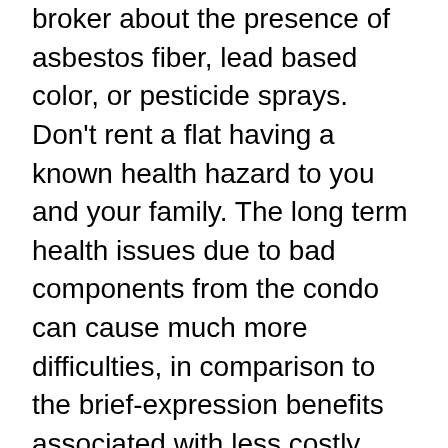broker about the presence of asbestos fiber, lead based color, or pesticide sprays. Don't rent a flat having a known health hazard to you and your family. The long term health issues due to bad components from the condo can cause much more difficulties, in comparison to the brief-expression benefits associated with less costly rent payments.
If you are in the marketplace to get some home be sure that you get in touch with a commercial residence dealer. Because they is going to do a lot of the job and they have a greater understanding of the market, they will likely end up saving you lots of money and time.
sell my house fast California
Along the way of searching for a business real estate home, it is very important question your agent inquiries you might have. Should you don't, you could end up